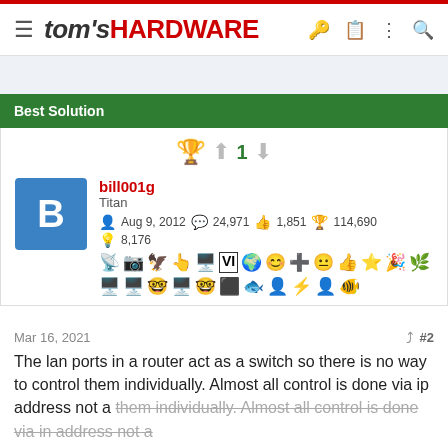tom's HARDWARE
Best Solution
bill001g
Titan
Aug 9, 2012  24,971  1,851  114,690
8,176
Mar 16, 2021  #2
The lan ports in a router act as a switch so there is no way to control them individually. Almost all control is done via ip address not a